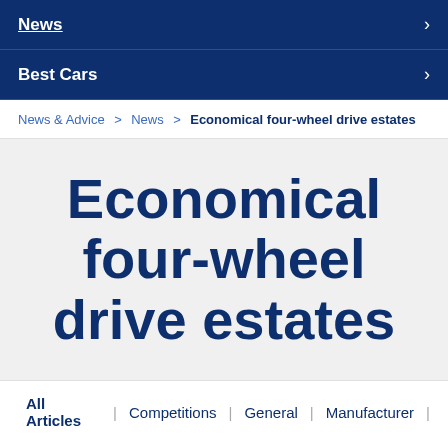News
Best Cars
News & Advice > News > Economical four-wheel drive estates
Economical four-wheel drive estates
All Articles | Competitions | General | Manufacturer |